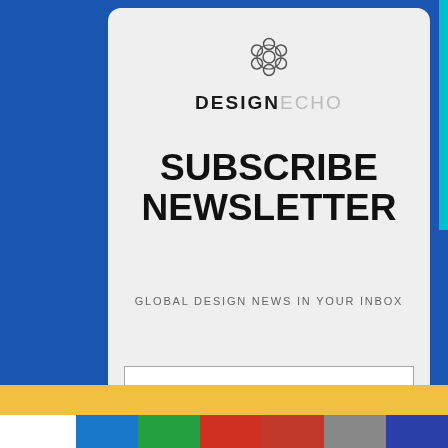[Figure (logo): DesignEcho logo with circular geometric icon above text reading DESIGNECHO]
SUBSCRIBE NEWSLETTER
GLOBAL DESIGN NEWS IN YOUR INBOX
[Figure (other): Email input field with arrow button]
Shares
[Figure (infographic): Social share buttons: Facebook, WhatsApp, Google+, Pinterest, Email, Crown]